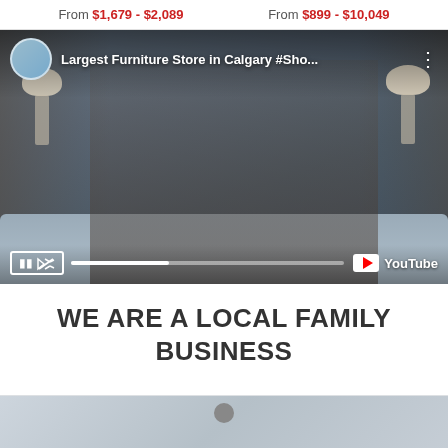From $1,679 - $2,089
From $899 - $10,049
[Figure (screenshot): YouTube video screenshot showing two women standing in a furniture store showroom, with the video title 'Largest Furniture Store in Calgary #Sho...' and YouTube controls visible at the bottom.]
WE ARE A LOCAL FAMILY BUSINESS